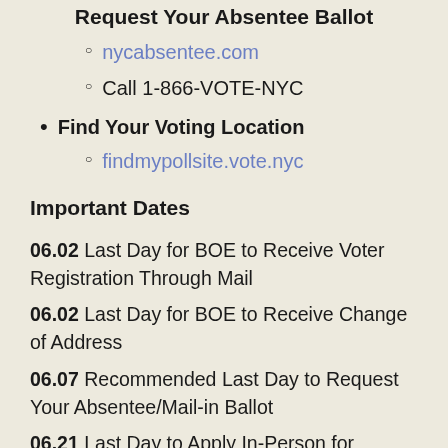Request Your Absentee Ballot
nycabsentee.com
Call 1-866-VOTE-NYC
Find Your Voting Location
findmypollsite.vote.nyc
Important Dates
06.02 Last Day for BOE to Receive Voter Registration Through Mail
06.02 Last Day for BOE to Receive Change of Address
06.07 Recommended Last Day to Request Your Absentee/Mail-in Ballot
06.21 Last Day to Apply In-Person for Absentee/Mail-in Ballot